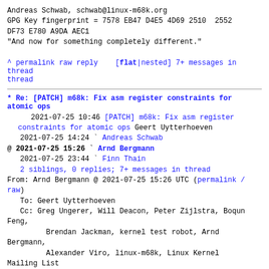Andreas Schwab, schwab@linux-m68k.org
GPG Key fingerprint = 7578 EB47 D4E5 4D69 2510  2552
DF73 E780 A9DA AEC1
"And now for something completely different."
^ permalink raw reply    [flat|nested] 7+ messages in thread
* Re: [PATCH] m68k: Fix asm register constraints for atomic ops
2021-07-25 10:46 [PATCH] m68k: Fix asm register constraints for atomic ops Geert Uytterhoeven
   2021-07-25 14:24 ` Andreas Schwab
@ 2021-07-25 15:26 ` Arnd Bergmann
   2021-07-25 23:44 ` Finn Thain
   2 siblings, 0 replies; 7+ messages in thread
From: Arnd Bergmann @ 2021-07-25 15:26 UTC (permalink / raw)
   To: Geert Uytterhoeven
   Cc: Greg Ungerer, Will Deacon, Peter Zijlstra, Boqun Feng,
         Brendan Jackman, kernel test robot, Arnd Bergmann,
         Alexander Viro, linux-m68k, Linux Kernel Mailing List
On Sun, Jul 25, 2021 at 12:46 PM Geert Uytterhoeven
<geert@linux-m68k.org> wrote:
>